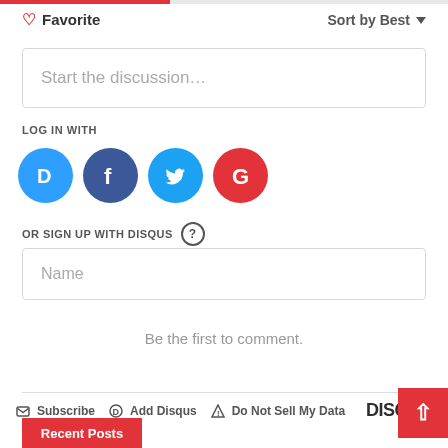[Figure (screenshot): Disqus comment widget UI showing favorite button, sort by best, discussion text field, social login icons (Disqus, Facebook, Twitter, Google), sign up with Disqus section with Name field, 'Be the first to comment' message, and footer with Subscribe, Add Disqus, Do Not Sell My Data, DISQUS logo, back to top button, and Recent Posts button]
Favorite
Sort by Best
Start the discussion…
LOG IN WITH
OR SIGN UP WITH DISQUS
Name
Be the first to comment.
Subscribe   Add Disqus   Do Not Sell My Data   DISQUS
Recent Posts